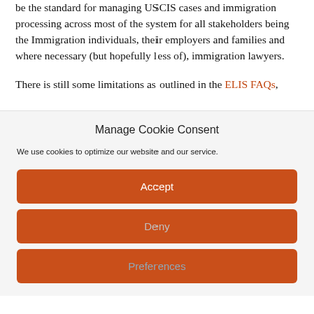be the standard for managing USCIS cases and immigration processing across most of the system for all stakeholders being the Immigration individuals, their employers and families and where necessary (but hopefully less of), immigration lawyers.
There is still some limitations as outlined in the ELIS FAQs,
Manage Cookie Consent
We use cookies to optimize our website and our service.
Accept
Deny
Preferences